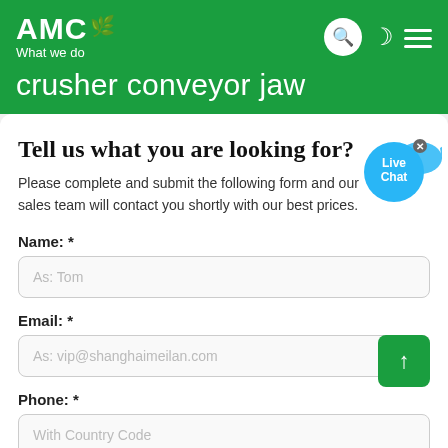AMC What we do
crusher conveyor jaw
Tell us what you are looking for?
Please complete and submit the following form and our sales team will contact you shortly with our best prices.
Name: *
As: Tom
Email: *
As: vip@shanghaimeilan.com
Phone: *
With Country Code